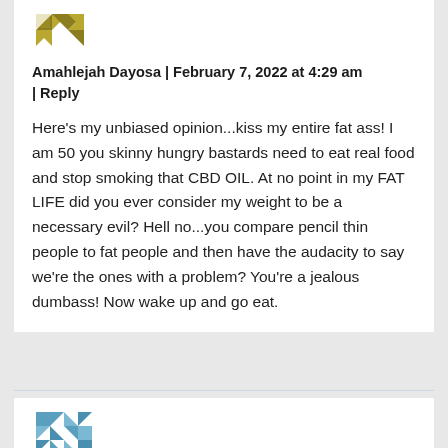[Figure (logo): Gold/olive colored geometric avatar icon for Amahlejah Dayosa]
Amahlejah Dayosa | February 7, 2022 at 4:29 am | Reply
Here's my unbiased opinion...kiss my entire fat ass! I am 50 you skinny hungry bastards need to eat real food and stop smoking that CBD OIL. At no point in my FAT LIFE did you ever consider my weight to be a necessary evil? Hell no...you compare pencil thin people to fat people and then have the audacity to say we're the ones with a problem? You're a jealous dumbass! Now wake up and go eat.
[Figure (logo): Blue/teal geometric avatar icon for second commenter]